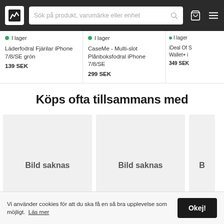[Figure (screenshot): Website header with logo, search bar, cart icon, and menu icon on dark background]
I lager
Läderfodral Fjärilar iPhone 7/8/SE grön
139 SEK
I lager
CaseMe - Multi-slot Plånboksfodral iPhone 7/8/SE
299 SEK
I lager
iDeal Of S Wallet+ i
349 SEK
Köps ofta tillsammans med
[Figure (photo): Bild saknas placeholder card 1]
[Figure (photo): Bild saknas placeholder card 2]
[Figure (photo): Bild saknas partial placeholder card 3]
Vi använder cookies för att du ska få en så bra upplevelse som möjligt. Läs mer
Okej!